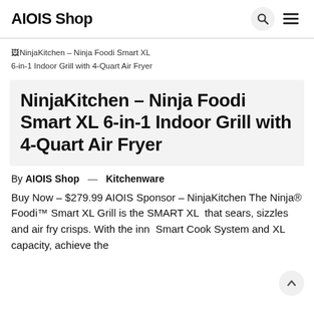AIOIS Shop
[Figure (other): Broken image placeholder with alt text: NinjaKitchen – Ninja Foodi Smart XL 6-in-1 Indoor Grill with 4-Quart Air Fryer]
NinjaKitchen – Ninja Foodi Smart XL 6-in-1 Indoor Grill with 4-Quart Air Fryer
By AIOIS Shop — Kitchenware
Buy Now – $279.99 AIOIS Sponsor – NinjaKitchen The Ninja® Foodi™ Smart XL Grill is the SMART XL that sears, sizzles and air fry crisps. With the inn Smart Cook System and XL capacity, achieve the